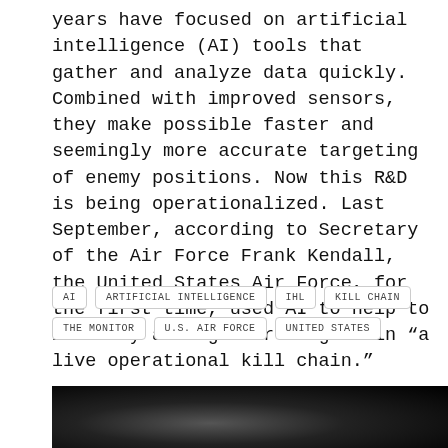years have focused on artificial intelligence (AI) tools that gather and analyze data quickly. Combined with improved sensors, they make possible faster and seemingly more accurate targeting of enemy positions. Now this R&D is being operationalized. Last September, according to Secretary of the Air Force Frank Kendall, the United States Air Force, for the first time, used AI to help to identify a target or targets in “a live operational kill chain.”
AI
ARTIFICIAL INTELLIGENCE
IHL
KILL CHAIN
THE MONITOR
U.S. AIR FORCE
UNITED STATES
[Figure (photo): Dark image, mostly black with a faint light glow in the lower-left area, appearing to be a nighttime or low-light photograph.]